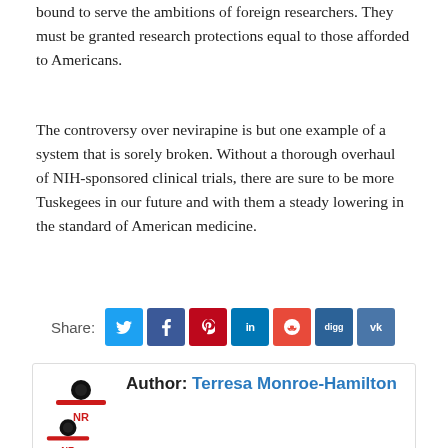bound to serve the ambitions of foreign researchers. They must be granted research protections equal to those afforded to Americans.
The controversy over nevirapine is but one example of a system that is sorely broken. Without a thorough overhaul of NIH-sponsored clinical trials, there are sure to be more Tuskegees in our future and with them a steady lowering in the standard of American medicine.
Share: [Twitter] [Facebook] [Pinterest] [LinkedIn] [Reddit] [Digg] [VK]
Author: Terresa Monroe-Hamilton
Related Articles
[Figure (photo): Crowd photo used for related article thumbnail]